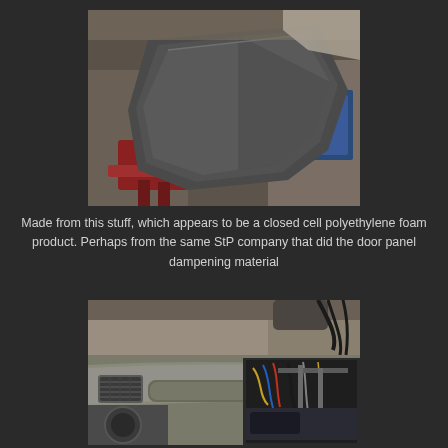[Figure (photo): A large dark grey/black sheet of foam material being held up in a cluttered garage/workshop setting with a red floor jack, various equipment and boxes visible in the background.]
Made from this stuff, which appears to be a closed cell polyethylene foam product. Perhaps from the same StP company that did the door panel dampening material
[Figure (photo): A car dashboard interior with the dashboard partially removed or disassembled, showing the bare dash structure with wiring and components visible on the right side. A person is visible leaning over at the top of the frame in a garage setting.]